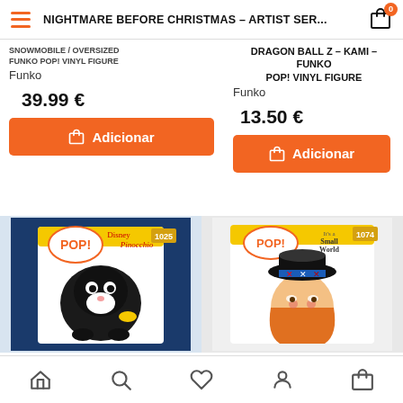NIGHTMARE BEFORE CHRISTMAS – ARTIST SER...
SNOWMOBILE / OVERSIZED FUNKO POP! VINYL FIGURE
Funko
39.99 €
Adicionar
DRAGON BALL Z – KAMI – FUNKO POP! VINYL FIGURE
Funko
13.50 €
Adicionar
[Figure (photo): Funko Pop Pinocchio #1025 Disney vinyl figure box]
[Figure (photo): Funko Pop It's a Small World #1074 vinyl figure box]